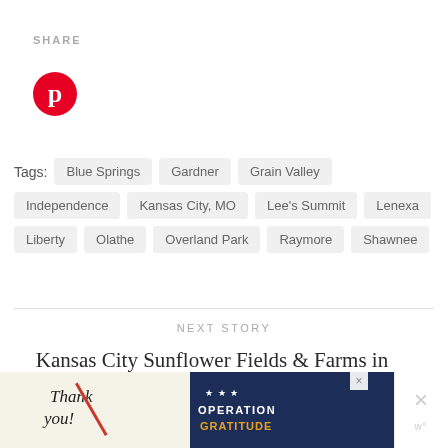SHARE
[Figure (logo): Pinterest logo — white P on red circle]
Tags:  Blue Springs  Gardner  Grain Valley  Independence  Kansas City, MO  Lee's Summit  Lenexa  Liberty  Olathe  Overland Park  Raymore  Shawnee
NEXT STORY
Kansas City Sunflower Fields & Farms in Bloom to Visit (Open Aug to Sept)
[Figure (screenshot): Advertisement banner — Thank You military Operation Gratitude ad]